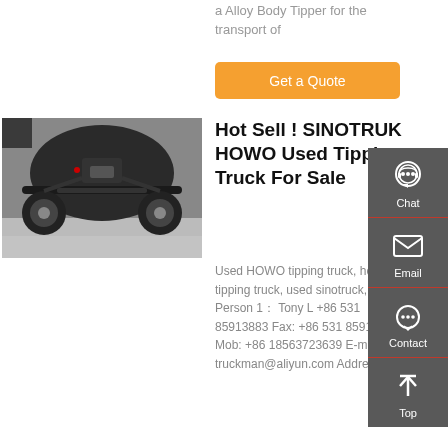a Alloy Body Tipper for the transport of
Get a Quote
[Figure (photo): Undercarriage view of a SINOTRUK HOWO tipping truck, showing suspension and axle components from below]
Hot Sell ! SINOTRUK HOWO Used Tipping Truck For Sale
Used HOWO tipping truck, howo tipping truck, used sinotruck, Contact Person 1： Tony L +86 531 85913883 Fax: +86 531 85913883 Mob: +86 18563723639 E-mail: truckman@aliyun.com Address: